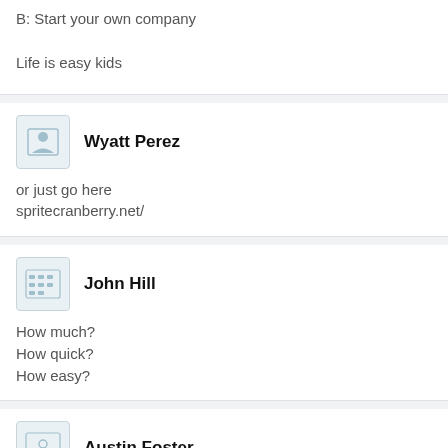B: Start your own company

Life is easy kids
Wyatt Perez
or just go here
spritecranberry.net/
John Hill
How much?
How quick?
How easy?
Austin Foster
>union job
It sucks but it's true, sometimes you just have to swallow